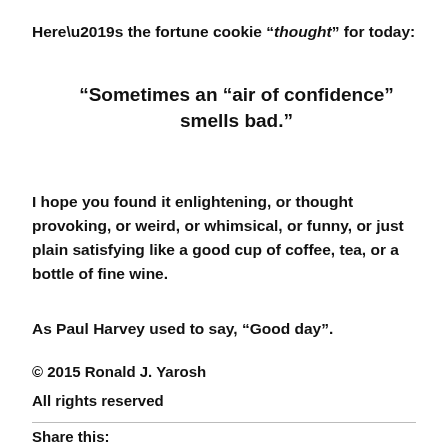Here’s the fortune cookie “thought” for today:
“Sometimes an “air of confidence” smells bad.”
I hope you found it enlightening, or thought provoking, or weird, or whimsical, or funny, or just plain satisfying like a good cup of coffee, tea, or a bottle of fine wine.
As Paul Harvey used to say, “Good day”.
© 2015 Ronald J. Yarosh
All rights reserved
Share this: